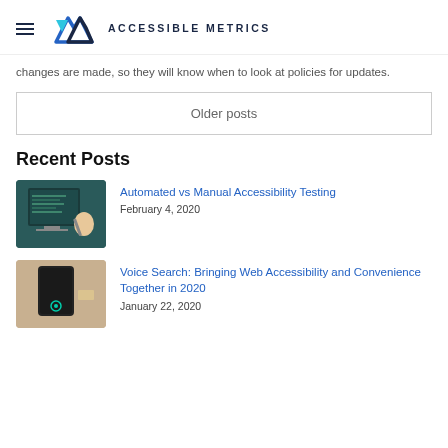ACCESSIBLE METRICS
changes are made, so they will know when to look at policies for updates.
Older posts
Recent Posts
[Figure (photo): Person pointing at a computer monitor with code on screen]
Automated vs Manual Accessibility Testing
February 4, 2020
[Figure (photo): Smart speaker device with glowing microphone icon]
Voice Search: Bringing Web Accessibility and Convenience Together in 2020
January 22, 2020